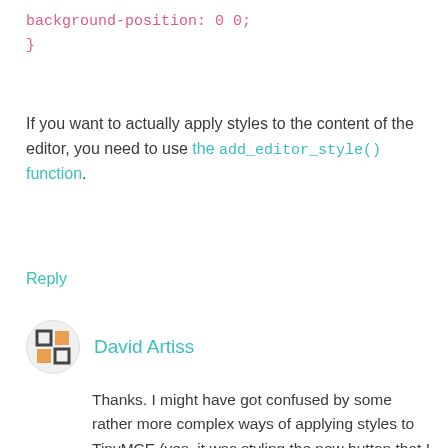background-position: 0 0;
}
If you want to actually apply styles to the content of the editor, you need to use the add_editor_style() function.
Reply
David Artiss
Thanks. I might have got confused by some rather more complex ways of applying styles to TinyMCE (yes, it was styling the new button that I was after).